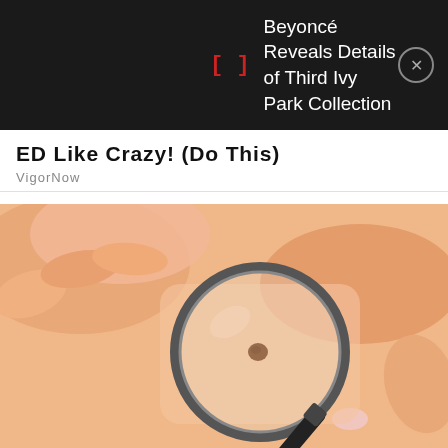[Figure (screenshot): Dark notification bar showing Beyoncé news item with red bracket icon and close button]
ED Like Crazy! (Do This)
VigorNow
[Figure (photo): Close-up photo of skin with a mole being examined through a magnifying glass, with hands visible around the area]